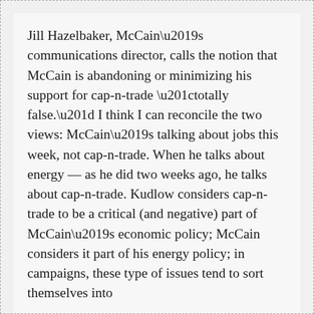Jill Hazelbaker, McCain's communications director, calls the notion that McCain is abandoning or minimizing his support for cap-n-trade “totally false.” I think I can reconcile the two views: McCain’s talking about jobs this week, not cap-n-trade. When he talks about energy — as he did two weeks ago, he talks about cap-n-trade. Kudlow considers cap-n-trade to be a critical (and negative) part of McCain’s economic policy; McCain considers it part of his energy policy; in campaigns, these type of issues tend to sort themselves into